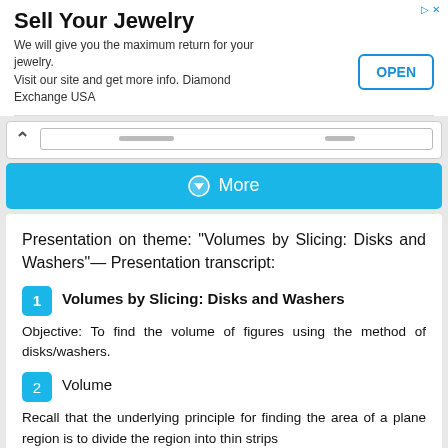Sell Your Jewelry
We will give you the maximum return for your jewelry. Visit our site and get more info. Diamond Exchange USA
More
Presentation on theme: "Volumes by Slicing: Disks and Washers"— Presentation transcript:
1 Volumes by Slicing: Disks and Washers
Objective: To find the volume of figures using the method of disks/washers.
2 Volume
Recall that the underlying principle for finding the area of a plane region is to divide the region into thin strips...